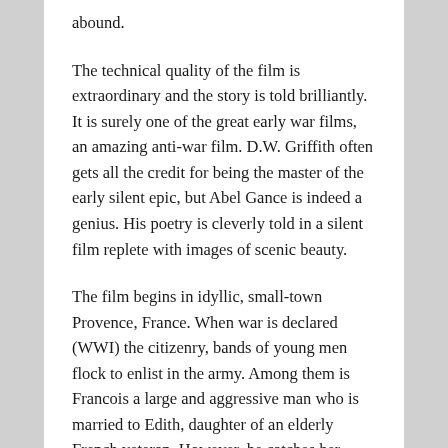abound.
The technical quality of the film is extraordinary and the story is told brilliantly. It is surely one of the great early war films, an amazing anti-war film. D.W. Griffith often gets all the credit for being the master of the early silent epic, but Abel Gance is indeed a genius. His poetry is cleverly told in a silent film replete with images of scenic beauty.
The film begins in idyllic, small-town Provence, France. When war is declared (WWI) the citizenry, bands of young men flock to enlist in the army. Among them is Francois a large and aggressive man who is married to Edith, daughter of an elderly French veteran. However, he catches her caught up in a secret romance with a poet, Jean Diaz. Angry, Francois sends his wife away to stay with his mother, but she is captured by German soldiers and raped. Jean does not enlist, as a pacifist, but eventually is forced to enlist when his hometown town is captured and occupied by the Germans.